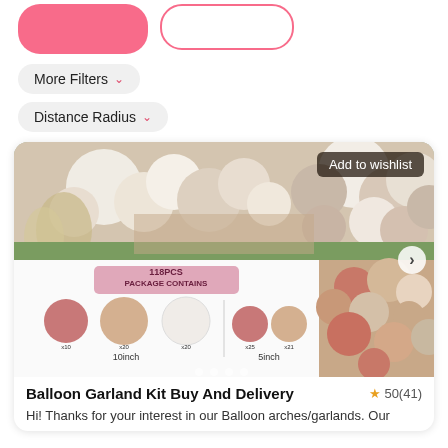[Figure (screenshot): Two UI buttons: a pink filled button and a pink outlined button at the top of a mobile app screen]
More Filters ∨
Distance Radius ∨
[Figure (photo): Product listing card showing balloon garland arrangement photos with 118PCS package contents diagram showing 10inch and 5inch balloons in rose gold, peach, and white colors. An 'Add to wishlist' badge is visible and navigation arrow on the right.]
Balloon Garland Kit Buy And Delivery
50(41)
Hi! Thanks for your interest in our Balloon arches/garlands. Our